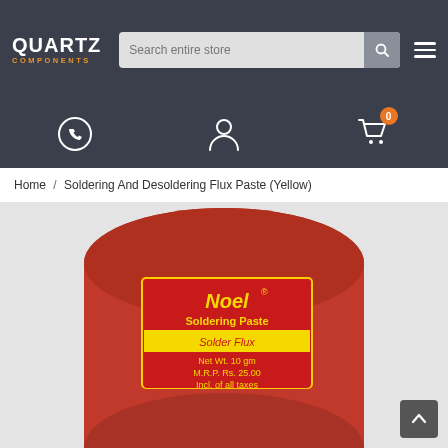QUARTZ COMPONENTS — Search entire store — navigation icons
Home / Soldering And Desoldering Flux Paste (Yellow)
[Figure (photo): Red circular tin container of Noel Soldering Paste (Flux) with yellow label showing text: Noel Soldering Paste (Flux), Solder Flux, Net Wt. 10 gm, M.R.P. Rs. 25.00, Incl. of all taxes]